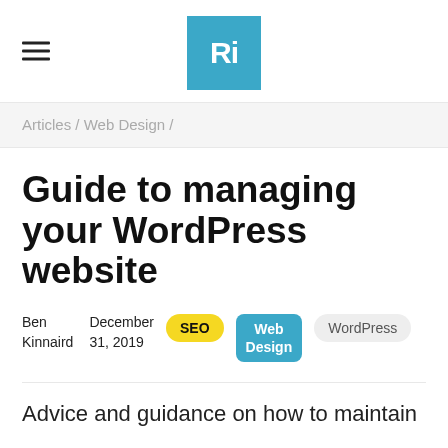Ri
Articles / Web Design /
Guide to managing your WordPress website
Ben Kinnaird  December 31, 2019  SEO  Web Design  WordPress
Advice and guidance on how to maintain